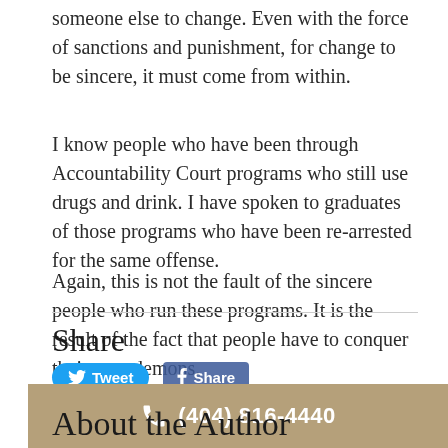someone else to change. Even with the force of sanctions and punishment, for change to be sincere, it must come from within.
I know people who have been through Accountability Court programs who still use drugs and drink. I have spoken to graduates of those programs who have been re-arrested for the same offense.
Again, this is not the fault of the sincere people who run these programs. It is the result of the fact that people have to conquer their own demons.
Share
[Figure (screenshot): Tweet button and partial Facebook share button]
[Figure (infographic): Phone bar with number (404) 816-4440]
About the Author